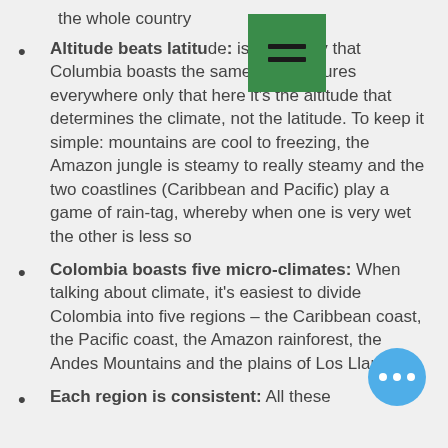the whole country
Altitude beats latitude: is not to say that Columbia boasts the same temperatures everywhere only that here it's the altitude that determines the climate, not the latitude. To keep it simple: mountains are cool to freezing, the Amazon jungle is steamy to really steamy and the two coastlines (Caribbean and Pacific) play a game of rain-tag, whereby when one is very wet the other is less so
Colombia boasts five micro-climates: When talking about climate, it's easiest to divide Colombia into five regions – the Caribbean coast, the Pacific coast, the Amazon rainforest, the Andes Mountains and the plains of Los Llanos
Each region is consistent: All these